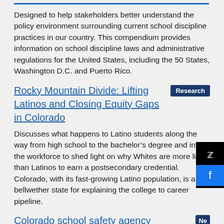Designed to help stakeholders better understand the policy environment surrounding current school discipline practices in our country. This compendium provides information on school discipline laws and administrative regulations for the United States, including the 50 States, Washington D.C. and Puerto Rico.
Rocky Mountain Divide: Lifting Latinos and Closing Equity Gaps in Colorado
Discusses what happens to Latino students along the way from high school to the bachelor's degree and into the workforce to shed light on why Whites are more likely than Latinos to earn a postsecondary credential. Colorado, with its fast-growing Latino population, is a bellwether state for explaining the college to career pipeline.
Colorado school safety agency launches statewide plan for dealing with school shootings